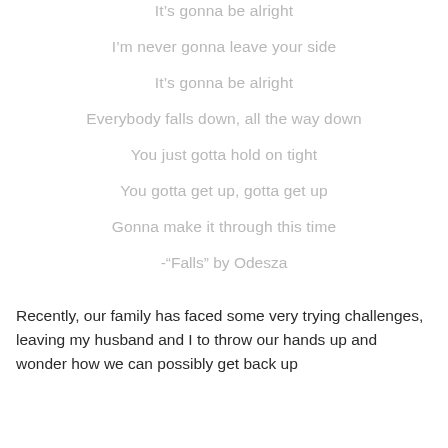It's gonna be alright
I'm never gonna leave your side
It's gonna be alright
Everybody falls down, all the way down
You just gotta hold on tight
You gotta get up, gotta get up
Gonna make it through this time
-"Falls" by Odesza
Recently, our family has faced some very trying challenges, leaving my husband and I to throw our hands up and wonder how we can possibly get back up